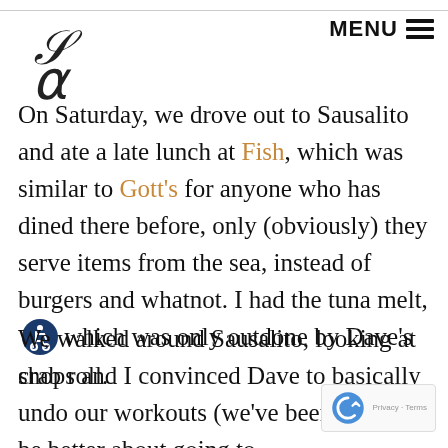MENU
On Saturday, we drove out to Sausalito and ate a late lunch at Fish, which was similar to Gott's for anyone who has dined there before, only (obviously) they serve items from the sea, instead of burgers and whatnot. I had the tuna melt, which was only outdone by Dave's crab roll.
We walked around Sausalito, looking at shops and I convinced Dave to basically undo our workouts (we've been trying to be better about going to